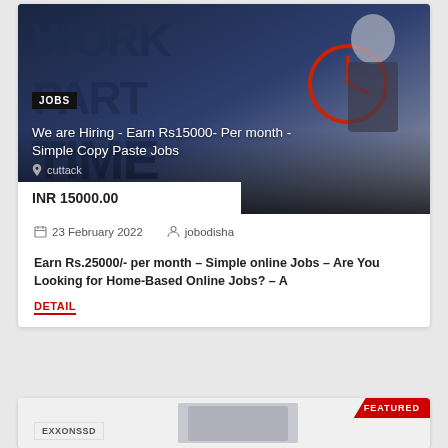[Figure (photo): Job listing card image showing 'WORK PART TIME' text with a businessman pointing at a clock icon. Dark blue background with gradient.]
We are Hiring - Earn Rs15000- Per month - Simple Copy Paste Jobs
cuttack
INR 15000.00
23 February 2022   jobodisha
Earn Rs.25000/- per month - Simple online Jobs - Are You Looking for Home-Based Online Jobs? - A
DETAIL
[Figure (photo): Second job listing card partially visible with FEATURED badge and EXXONSSD label]